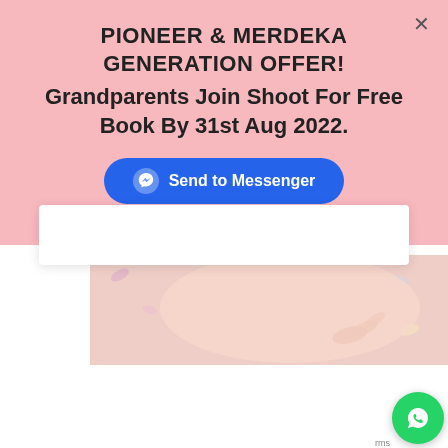PIONEER & MERDEKA GENERATION OFFER! Grandparents Join Shoot For Free Book By 31st Aug 2022.
Send to Messenger
[Figure (photo): Close-up photo of a baby lying on a floral background, partial view showing baby's torso and hand]
MAY  29
When Is The Best Time For Your Baby Photoshoot? | Baby Milkbath Photography